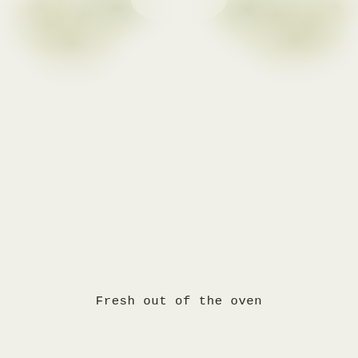[Figure (illustration): Soft watercolor botanical illustration of light green/cream colored flowers or leaves at the top of the page, fading into the background]
Fresh out of the oven